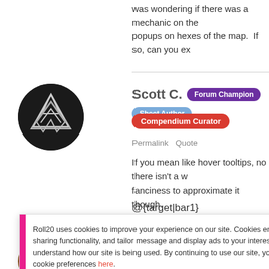was wondering if there was a mechanic on the popups on hexes of the map.  If so, can you ex
Scott C.
Forum Champion
Sheet Author
Compendium Curator
Permalink   Quote
If you mean like hover tooltips, no there isn't a w fanciness to approximate it though.
@{target|bar1}
Roll20 uses cookies to improve your experience on our site. Cookies enable you to enjoy certain features, social sharing functionality, and tailor message and display ads to your interests on our site and others. They also help us understand how our site is being used. By continuing to use our site, you consent to our use of cookies. Update your cookie preferences here.
Kevin G.
Pro
Permalink   Quote